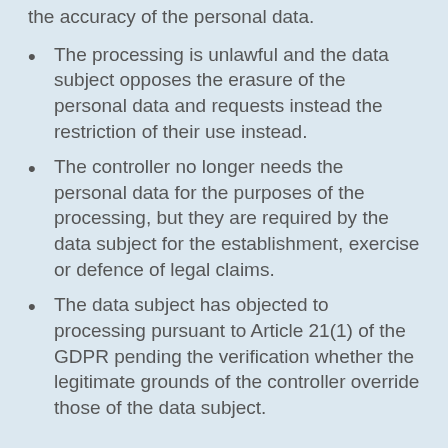the accuracy of the personal data.
The processing is unlawful and the data subject opposes the erasure of the personal data and requests instead the restriction of their use instead.
The controller no longer needs the personal data for the purposes of the processing, but they are required by the data subject for the establishment, exercise or defence of legal claims.
The data subject has objected to processing pursuant to Article 21(1) of the GDPR pending the verification whether the legitimate grounds of the controller override those of the data subject.